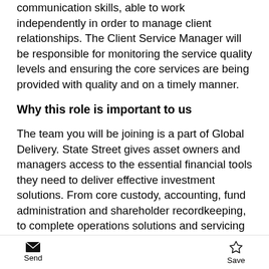communication skills, able to work independently in order to manage client relationships. The Client Service Manager will be responsible for monitoring the service quality levels and ensuring the core services are being provided with quality and on a timely manner.
Why this role is important to us
The team you will be joining is a part of Global Delivery. State Street gives asset owners and managers access to the essential financial tools they need to deliver effective investment solutions. From core custody, accounting, fund administration and shareholder recordkeeping, to complete operations solutions and servicing for alternative assets like OTC derivatives, private equity and real estate, State Street tools help our clients make better investment choices and act on growth opportunities.
Join us if making your mark in the financial services
Send  Save